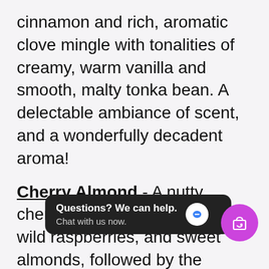cinnamon and rich, aromatic clove mingle with tonalities of creamy, warm vanilla and smooth, malty tonka bean. A delectable ambiance of scent, and a wonderfully decadent aroma!
Cherry Almond - A nutty cherry aroma with juicy cherry, wild raspberries, and sweet almonds, followed by the scents of mimosa flower, rose petals, and cinnamon; sitting on well grounded base of vanilla and Tonka beans.
Christmas Magic (Sept - Feb) - This exquisite Ch... Fresh evergreens blended with hints of warm